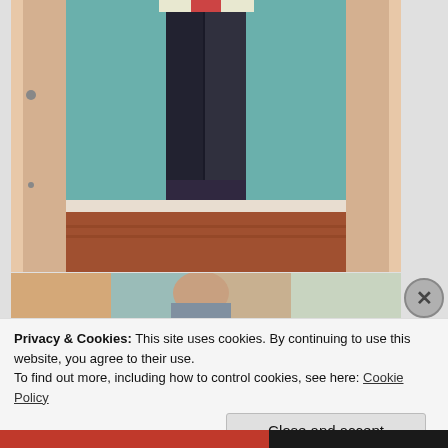[Figure (photo): A person's lower body wearing dark skinny jeans and brown/burgundy oxford shoes, standing in a doorway with teal/green walls and wooden floor. The image is slightly blurry/grainy.]
[Figure (photo): Partial view of another photo strip showing a person, partially obscured by a cookie consent banner.]
Privacy & Cookies: This site uses cookies. By continuing to use this website, you agree to their use.
To find out more, including how to control cookies, see here: Cookie Policy
Close and accept